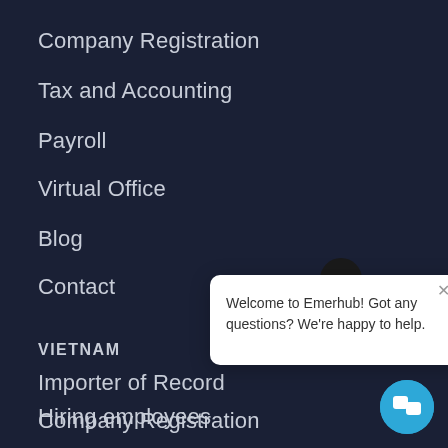Company Registration
Tax and Accounting
Payroll
Virtual Office
Blog
Contact
VIETNAM
Importer of Record
Company Registration
Hiring employees
[Figure (screenshot): Chat popup widget with Emerhub logo and message: Welcome to Emerhub! Got any questions? We're happy to help.]